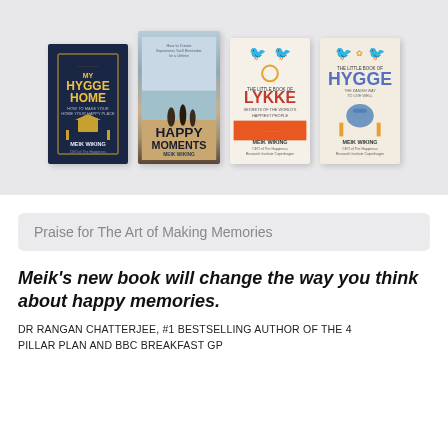[Figure (illustration): Four book covers by Meik Wiking displayed in a row against a light gray background: 'My Hygge Home', 'Happy Moments', 'The Little Book of Lykke', and 'The Little Book of Hygge'.]
Praise for The Art of Making Memories
Meik's new book will change the way you think about happy memories.
DR RANGAN CHATTERJEE, #1 BESTSELLING AUTHOR OF THE 4 PILLAR PLAN AND BBC BREAKFAST GP